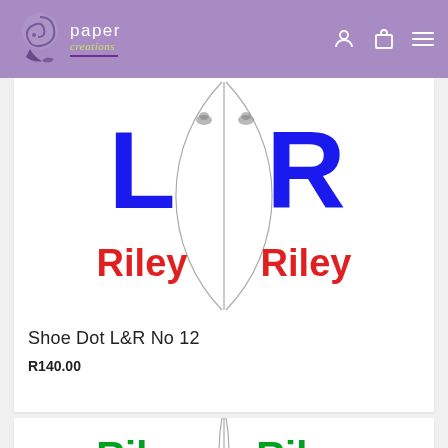[Figure (logo): Paper Creations logo with swirl graphic and green/white text on purple header background]
[Figure (photo): Shoe dot sticker showing two circular halves labeled L and R in blue with 'Riley Riley' in red text]
Shoe Dot L&R No 12
R140.00
[Figure (photo): Second shoe dot sticker showing two circular halves with 'Riley Riley' in green text, partially visible at bottom]